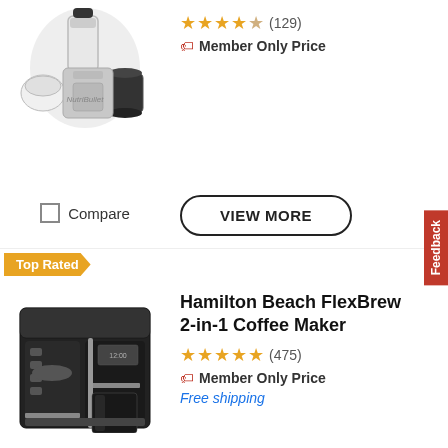[Figure (photo): Blender/bullet blender with cups and accessories (top of page, partially visible)]
★★★★☆ (129)
🏷 Member Only Price
Compare
VIEW MORE
Top Rated
[Figure (photo): Hamilton Beach FlexBrew 2-in-1 Coffee Maker - black coffee maker with pod and carafe options]
Hamilton Beach FlexBrew 2-in-1 Coffee Maker
★★★★½ (475)
🏷 Member Only Price
Free shipping
Compare
VIEW MORE
Top Rated
[Figure (photo): Ninja Foodi 8-Qt. 10-in-1 XL Pressure Cooker Air Fryer (partially visible at bottom)]
Ninja Foodi 8-Qt. 10-in-1 XL Pressure Cooker Air Fryer